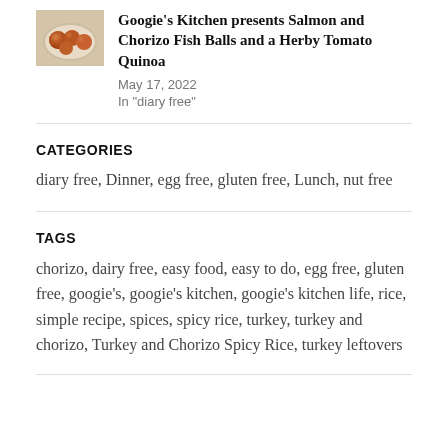[Figure (photo): Thumbnail image of food dish (salmon/chorizo fish balls), reddish-orange fried balls in a bowl]
Googie's Kitchen presents Salmon and Chorizo Fish Balls and a Herby Tomato Quinoa
May 17, 2022
In "diary free"
CATEGORIES
diary free, Dinner, egg free, gluten free, Lunch, nut free
TAGS
chorizo, dairy free, easy food, easy to do, egg free, gluten free, googie's, googie's kitchen, googie's kitchen life, rice, simple recipe, spices, spicy rice, turkey, turkey and chorizo, Turkey and Chorizo Spicy Rice, turkey leftovers